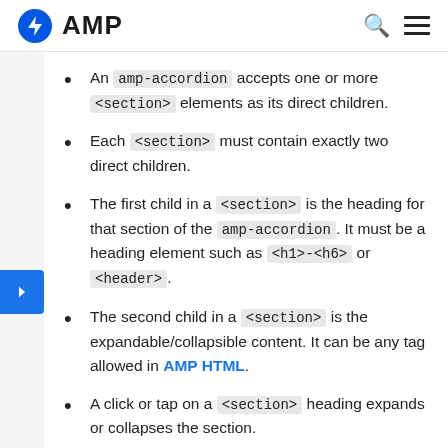AMP
An amp-accordion accepts one or more <section> elements as its direct children.
Each <section> must contain exactly two direct children.
The first child in a <section> is the heading for that section of the amp-accordion. It must be a heading element such as <h1>-<h6> or <header>.
The second child in a <section> is the expandable/collapsible content. It can be any tag allowed in AMP HTML.
A click or tap on a <section> heading expands or collapses the section.
An amp-accordion with a defined id